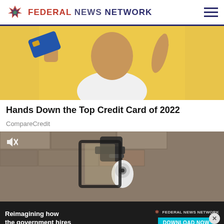FEDERAL NEWS NETWORK
[Figure (photo): Person holding a blue credit card up with a yellow background, smiling]
Hands Down the Top Credit Card of 2022
CompareCredit
[Figure (photo): Video frame showing a security camera mounted on a stone wall, with mute icon overlay]
[Figure (screenshot): Advertisement banner: Reimagining how the government hires — Federal News Network — DOWNLOAD NOW button with close X button]